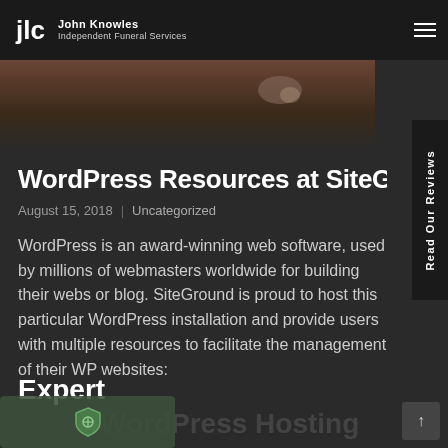John Knowles Independent Funeral Services
[Figure (photo): Dark hero image showing a hand or surface, partially visible at top of page]
WordPress Resources at SiteGround
August 15, 2018  |  Uncategorized
WordPress is an award-winning web software, used by millions of webmasters worldwide for building their webs or blog. SiteGround is proud to host this particular WordPress installation and provide users with multiple resources to facilitate the management of their WP websites:
Expert WordPress Hosting